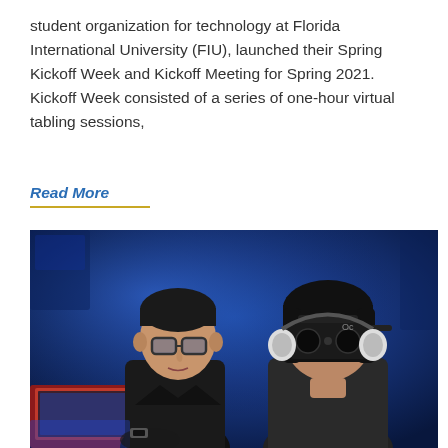student organization for technology at Florida International University (FIU), launched their Spring Kickoff Week and Kickoff Meeting for Spring 2021. Kickoff Week consisted of a series of one-hour virtual tabling sessions,
Read More
[Figure (photo): Two students in a lab setting. A young man with glasses on the left watches as a young woman on the right wears an Oculus VR headset and headphones. A red laptop is visible in the lower left. The background is a blue-lit laboratory environment.]